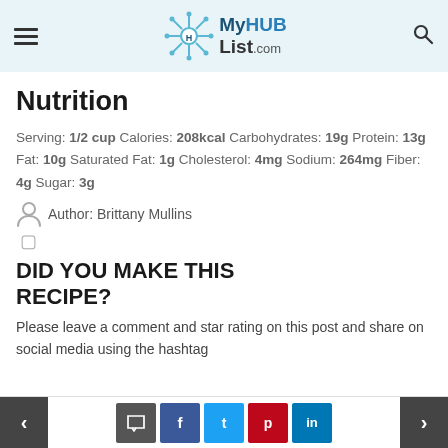MyHUBList.com
Nutrition
Serving: 1/2 cup Calories: 208kcal Carbohydrates: 19g Protein: 13g Fat: 10g Saturated Fat: 1g Cholesterol: 4mg Sodium: 264mg Fiber: 4g Sugar: 3g
Author: Brittany Mullins
DID YOU MAKE THIS RECIPE?
Please leave a comment and star rating on this post and share on social media using the hashtag
< comment f t p in >